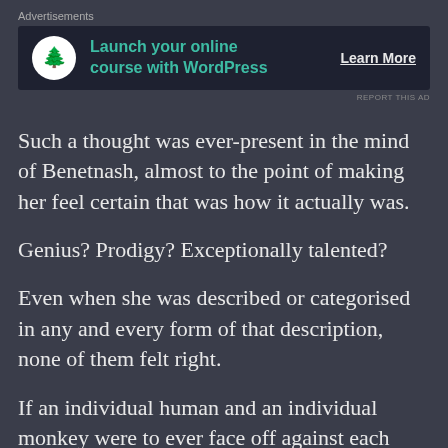[Figure (other): Advertisement banner: 'Launch your online course with WordPress' with a tree logo icon and 'Learn More' button on dark background]
Such a thought was ever-present in the mind of Benetnash, almost to the point of making her feel certain that was how it actually was.
Genius? Prodigy? Exceptionally talented?
Even when she was described or categorised in any and every form of that description, none of them felt right.
If an individual human and an individual monkey were to ever face off against each other in terms of their speed in solving equations and the human